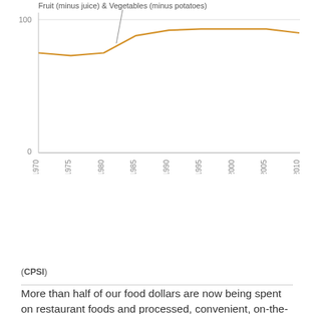[Figure (line-chart): Fruit (minus juice) & Vegetables (minus potatoes)]
(CPSI)
More than half of our food dollars are now being spent on restaurant foods and processed, convenient, on-the-go meals. You're much more likely to pack on calories when you eat out. Compared with home-cooked meals, breakfasts at sit-down restaurants typically have 261 more calories, lunches have 183 more calories, and dinners have 219 more calories. That's about 600